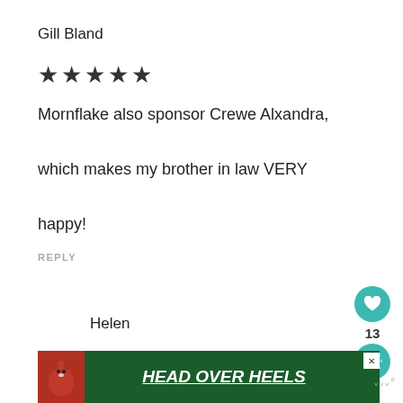Gill Bland
★★★★★
Mornflake also sponsor Crewe Alxandra, which makes my brother in law VERY happy!
REPLY
Helen
I am so glad to discover Mornflake.
[Figure (advertisement): Ad banner with dog image and text HEAD OVER HEELS on dark green background]